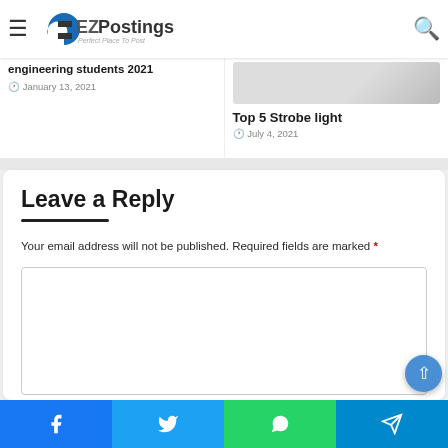EZPostings — Perfect Place To Post
engineering students 2021
January 13, 2021
Top 5 Strobe light
July 4, 2021
Leave a Reply
Your email address will not be published. Required fields are marked *